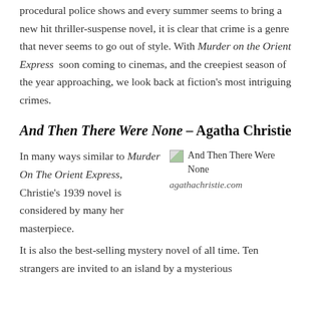procedural police shows and every summer seems to bring a new hit thriller-suspense novel, it is clear that crime is a genre that never seems to go out of style. With Murder on the Orient Express soon coming to cinemas, and the creepiest season of the year approaching, we look back at fiction's most intriguing crimes.
And Then There Were None – Agatha Christie
In many ways similar to Murder On The Orient Express, Christie's 1939 novel is considered by many her masterpiece. It is also the best-selling mystery novel of all time. Ten strangers are invited to an island by a mysterious
[Figure (photo): Cover image of And Then There Were None book, with broken image placeholder. Source: agathachristie.com]
agathachristie.com